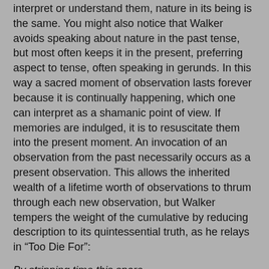interpret or understand them, nature in its being is the same. You might also notice that Walker avoids speaking about nature in the past tense, but most often keeps it in the present, preferring aspect to tense, often speaking in gerunds. In this way a sacred moment of observation lasts forever because it is continually happening, which one can interpret as a shamanic point of view. If memories are indulged, it is to resuscitate them into the present moment. An invocation of an observation from the past necessarily occurs as a present observation. This allows the inherited wealth of a lifetime worth of observations to thrum through each new observation, but Walker tempers the weight of the cumulative by reducing description to its quintessential truth, as he relays in “Too Die For”:
By stripping time this spare
the naked moment
hatches out of thinnest air.
The poem from which the collection borrows its title has this visionary stanza: